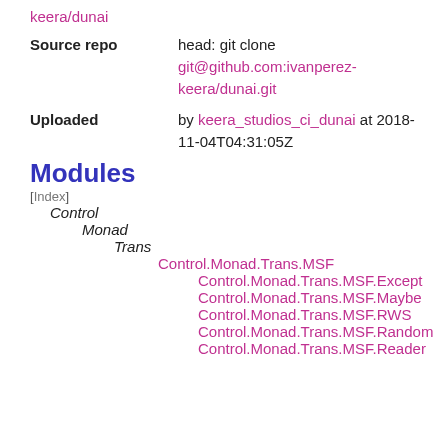keera/dunai
Source repo   head: git clone git@github.com:ivanperez-keera/dunai.git
Uploaded   by keera_studios_ci_dunai at 2018-11-04T04:31:05Z
Modules
[Index]
Control
Monad
Trans
Control.Monad.Trans.MSF
Control.Monad.Trans.MSF.Except
Control.Monad.Trans.MSF.Maybe
Control.Monad.Trans.MSF.RWS
Control.Monad.Trans.MSF.Random
Control.Monad.Trans.MSF.Reader